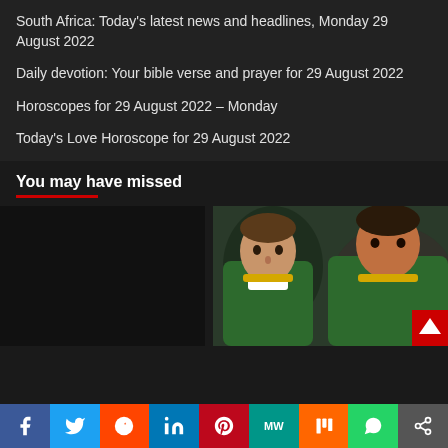South Africa: Today's latest news and headlines, Monday 29 August 2022
Daily devotion: Your bible verse and prayer for 29 August 2022
Horoscopes for 29 August 2022 – Monday
Today's Love Horoscope for 29 August 2022
You may have missed
[Figure (photo): Black/dark image placeholder on the left]
[Figure (photo): Two South African rugby players in green jerseys facing forward, blurred background]
Social sharing bar: Facebook, Twitter, Reddit, LinkedIn, Pinterest, MW, Mix, WhatsApp, Share